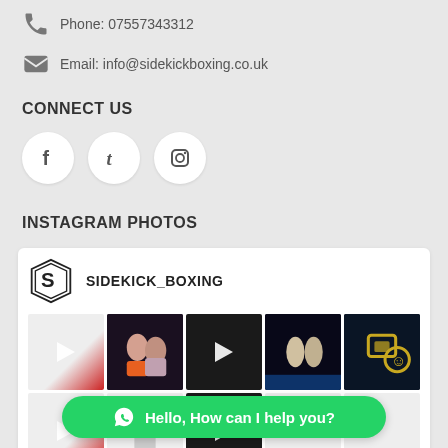Phone: 07557343312
Email: info@sidekickboxing.co.uk
CONNECT US
[Figure (illustration): Three social media icons in white circles: Facebook (f), Tumblr (t), Instagram (camera icon)]
INSTAGRAM PHOTOS
[Figure (screenshot): Instagram feed widget showing SIDEKICK_BOXING account with logo and two rows of 5 thumbnail photos/videos with play buttons]
Hello, How can I help you?